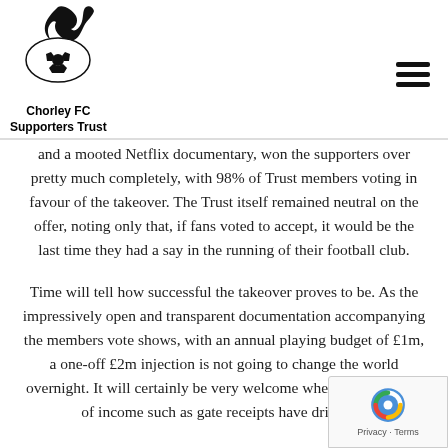Chorley FC Supporters Trust
and a mooted Netflix documentary, won the supporters over pretty much completely, with 98% of Trust members voting in favour of the takeover. The Trust itself remained neutral on the offer, noting only that, if fans voted to accept, it would be the last time they had a say in the running of their football club.
Time will tell how successful the takeover proves to be. As the impressively open and transparent documentation accompanying the members vote shows, with an annual playing budget of £1m, a one-off £2m injection is not going to change the world overnight. It will certainly be very welcome when other sources of income such as gate receipts have dried up.